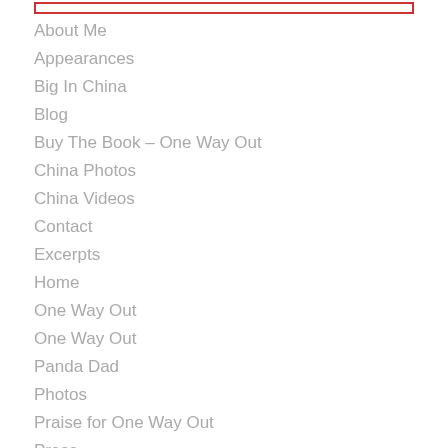About Me
Appearances
Big In China
Blog
Buy The Book – One Way Out
China Photos
China Videos
Contact
Excerpts
Home
One Way Out
One Way Out
Panda Dad
Photos
Praise for One Way Out
Press